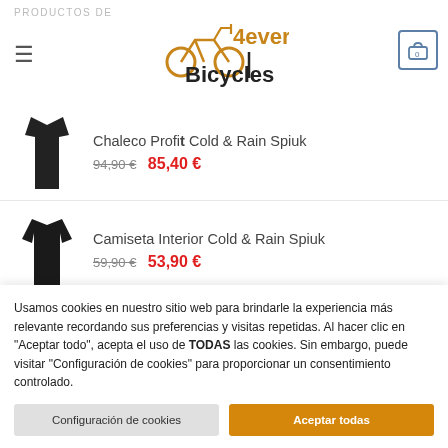PRODUCTOS DE: 4ever Bicycles
Chaleco Profit Cold & Rain Spiuk — 94,90 € → 85,40 €
Camiseta Interior Cold & Rain Spiuk — 59,90 € → 53,90 €
Sudadera con Capucha SC Community Hombre
Usamos cookies en nuestro sitio web para brindarle la experiencia más relevante recordando sus preferencias y visitas repetidas. Al hacer clic en "Aceptar todo", acepta el uso de TODAS las cookies. Sin embargo, puede visitar "Configuración de cookies" para proporcionar un consentimiento controlado.
Configuración de cookies | Aceptar todas